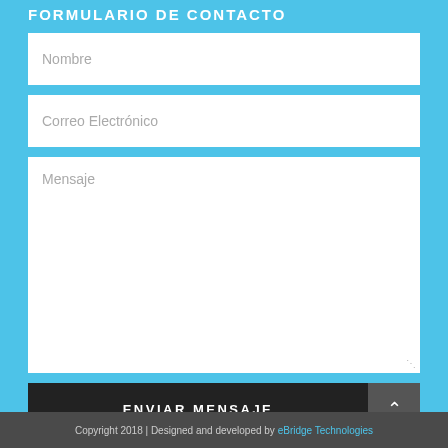FORMULARIO DE CONTACTO
Nombre
Correo Electrónico
Mensaje
ENVIAR MENSAJE
Copyright 2018 | Designed and developed by eBridge Technologies